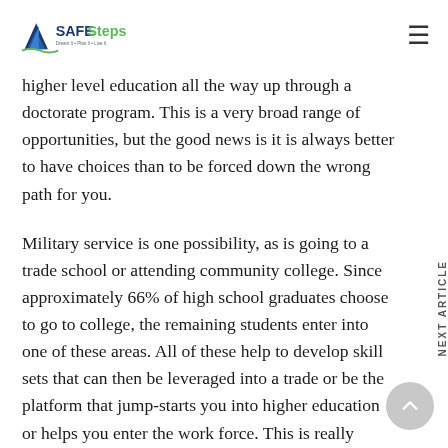SAFE Steps logo and navigation menu
higher level education all the way up through a doctorate program. This is a very broad range of opportunities, but the good news is it is always better to have choices than to be forced down the wrong path for you.
Military service is one possibility, as is going to a trade school or attending community college. Since approximately 66% of high school graduates choose to go to college, the remaining students enter into one of these areas. All of these help to develop skill sets that can then be leveraged into a trade or be the platform that jump-starts you into higher education or helps you enter the work force. This is really where the SAFE Steps system can be